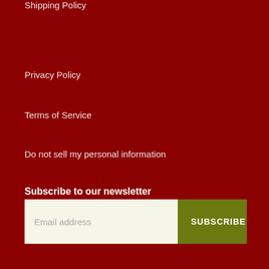Shipping Policy
Privacy Policy
Terms of Service
Do not sell my personal information
Subscribe to our newsletter
Email address | SUBSCRIBE